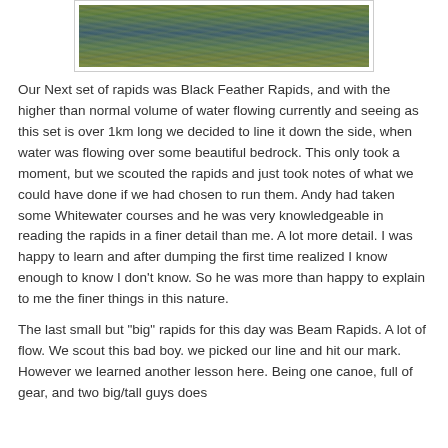[Figure (photo): Close-up photo of rippling river water with green and blue tones, showing water surface texture]
Our Next set of rapids was Black Feather Rapids, and with the higher than normal volume of water flowing currently and seeing as this set is over 1km long we decided to line it down the side, when water was flowing over some beautiful bedrock. This only took a moment, but we scouted the rapids and just took notes of what we could have done if we had chosen to run them. Andy had taken some Whitewater courses and he was very knowledgeable in reading the rapids in a finer detail than me. A lot more detail. I was happy to learn and after dumping the first time realized I know enough to know I don't know. So he was more than happy to explain to me the finer things in this nature.
The last small but "big" rapids for this day was Beam Rapids. A lot of flow. We scout this bad boy. we picked our line and hit our mark. However we learned another lesson here. Being one canoe, full of gear, and two big/tall guys does